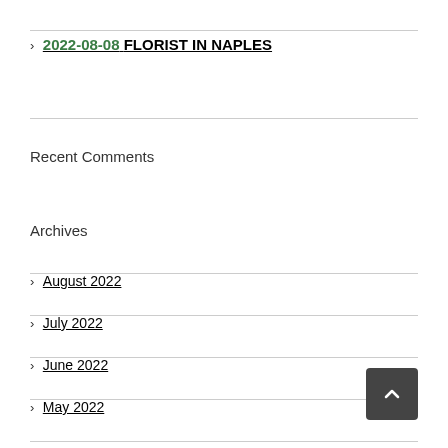> 2022-08-08 FLORIST IN NAPLES
Recent Comments
Archives
> August 2022
> July 2022
> June 2022
> May 2022